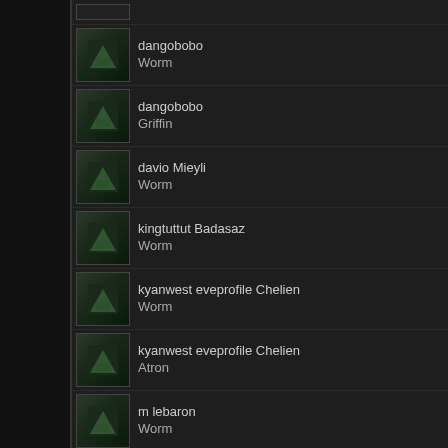dangobobo
Worm
dangobobo
Griffin
davio Mieyli
Worm
kingtuttut Badasaz
Worm
kyanwest eveprofile Chelien
Worm
kyanwest eveprofile Chelien
Atron
m lebaron
Worm
m lebaron
Capsule - Genolution 'Auroral' 197
variant
tgl3
Worm
ton pentre
Worm
uhnboy ghost
Worm
xlop
Worm